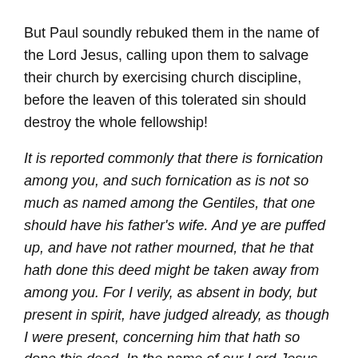But Paul soundly rebuked them in the name of the Lord Jesus, calling upon them to salvage their church by exercising church discipline, before the leaven of this tolerated sin should destroy the whole fellowship!
It is reported commonly that there is fornication among you, and such fornication as is not so much as named among the Gentiles, that one should have his father's wife. And ye are puffed up, and have not rather mourned, that he that hath done this deed might be taken away from among you. For I verily, as absent in body, but present in spirit, have judged already, as though I were present, concerning him that hath so done this deed, In the name of our Lord Jesus Christ, when ye are gathered together, and my spirit, with the power of our Lord Jesus Christ, To deliver such an one unto Satan for the destruction of the